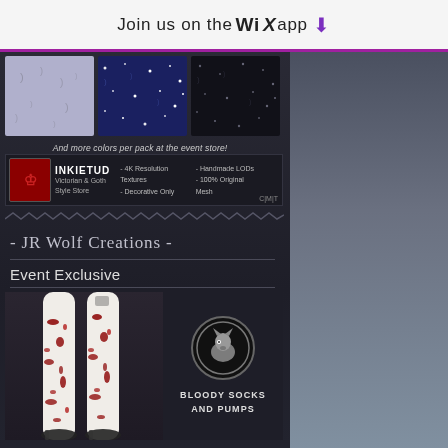Join us on the WiX app ↓
[Figure (illustration): Three fabric swatches: lavender with moons, navy with stars, black with stars]
And more colors per pack at the event store!
[Figure (infographic): INKIETUD Victorian & Goth Style Store banner with logo and features: 4K Resolution Textures, Decorative Only, Handmade LODs, 100% Original Mesh, C|M|T]
- JR Wolf Creations -
Event Exclusive
[Figure (photo): Product image showing bloody white stockings/socks and pumps with JR Wolf Creations logo badge and text BLOODY SOCKS AND PUMPS]